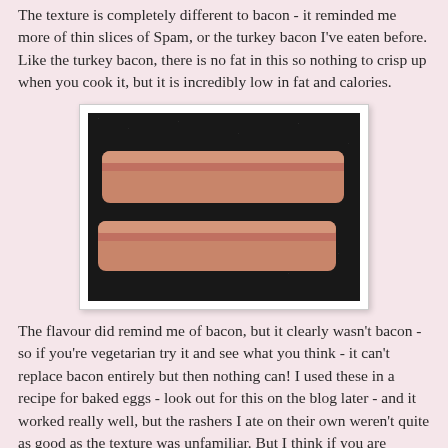The texture is completely different to bacon - it reminded me more of thin slices of Spam, or the turkey bacon I've eaten before. Like the turkey bacon, there is no fat in this so nothing to crisp up when you cook it, but it is incredibly low in fat and calories.
[Figure (photo): Two strips of vegetarian/soy bacon rashers cooking in a dark non-stick frying pan, shown uncooked, pale pink in color.]
The flavour did remind me of bacon, but it clearly wasn't bacon - so if you're vegetarian try it and see what you think - it can't replace bacon entirely but then nothing can! I used these in a recipe for baked eggs - look out for this on the blog later - and it worked really well, but the rashers I ate on their own weren't quite as good as the texture was unfamiliar. But I think if you are vegetarian and really miss bacon, you should give these a go!